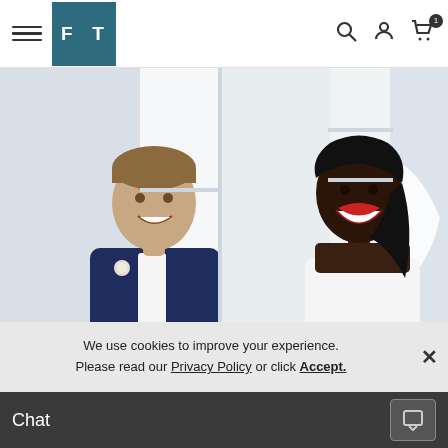[Figure (screenshot): Website navigation bar with hamburger menu, FT logo in teal box, search icon, user icon, and shopping cart icon with badge]
[Figure (photo): Wedding photo showing a groom in a navy suit with boutonniere on the left and a bride in a white dress and veil on the right, both smiling, standing back to back in a bright room]
We use cookies to improve your experience. Please read our Privacy Policy or click Accept.
Chat